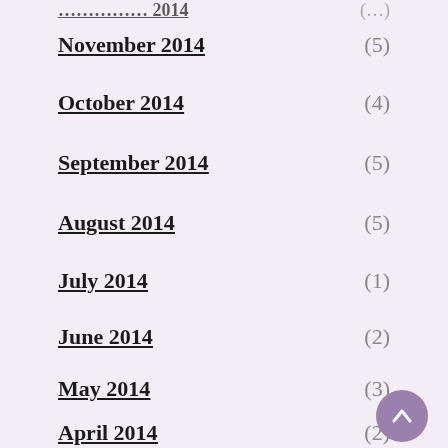November 2014 (5)
October 2014 (4)
September 2014 (5)
August 2014 (5)
July 2014 (1)
June 2014 (2)
May 2014 (3)
April 2014 (2)
March 2014 (3)